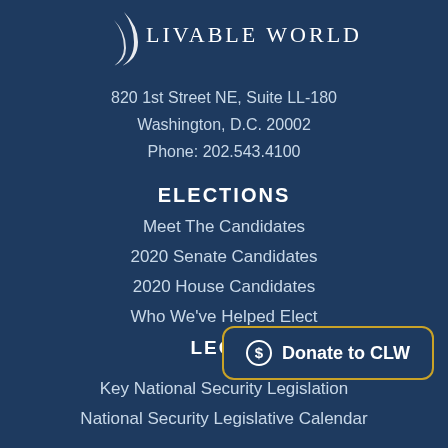[Figure (logo): Livable World logo with crescent moon graphic and text 'Livable World' in spaced serif capitals]
820 1st Street NE, Suite LL-180
Washington, D.C. 20002
Phone: 202.543.4100
ELECTIONS
Meet The Candidates
2020 Senate Candidates
2020 House Candidates
Who We've Helped Elect
LEGIS
[Figure (other): Donate to CLW button with dollar sign icon, outlined in gold/yellow border on dark blue background]
Key National Security Legislation
National Security Legislative Calendar